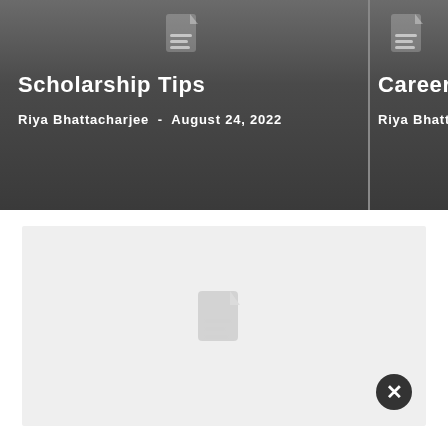Scholarship Tips
Riya Bhattacharjee - August 24, 2022
Career
Riya Bhatt
[Figure (illustration): Document/article icon placeholder image in a light gray box, with a circular close (×) button in the bottom right corner]